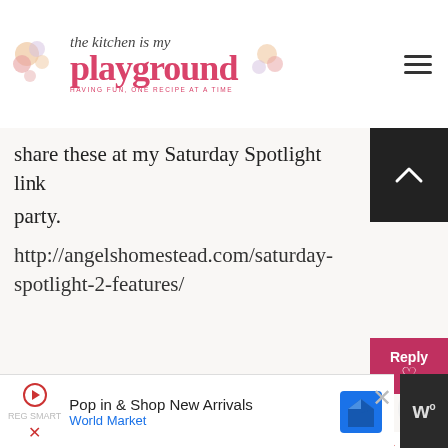The Kitchen is my Playground - Having Fun, One Recipe at a Time
share these at my Saturday Spotlight link party.
http://angelshomestead.com/saturday-spotlight-2-features/
Bonny @ thedomesticatedprincess.com
February 2, 2013 at 3:39 PM
These are adorable for Valentine's Day!
Pop in & Shop New Arrivals
World Market